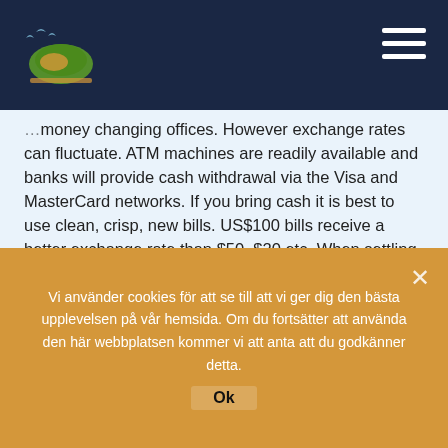Diving Travel (logo) — navigation header
money changing offices. However exchange rates can fluctuate. ATM machines are readily available and banks will provide cash withdrawal via the Visa and MasterCard networks. If you bring cash it is best to use clean, crisp, new bills. US$100 bills receive a better exchange rate than $50, $20 etc. When settling your bill, The Resort accepts US dollars and Euros as well Visa and MasterCard.
Health & Vaccinations
Vi använder cookies för att se till att vi ger dig den bästa upplevelsen på vår hemsida. Om du fortsätter att använda den här webbplatsen kommer vi att anta att du godkänner detta.
Ok